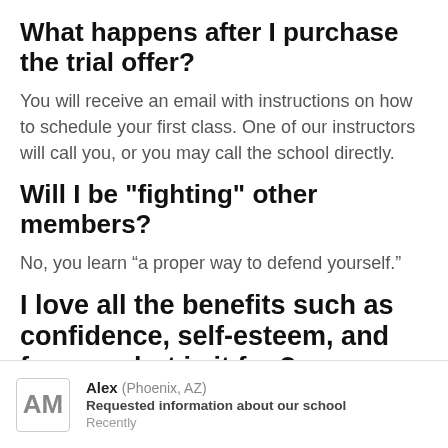What happens after I purchase the trial offer?
You will receive an email with instructions on how to schedule your first class. One of our instructors will call you, or you may call the school directly.
Will I be "fighting" other members?
No, you learn “a proper way to defend yourself.”
I love all the benefits such as confidence, self-esteem, and focus … but is it fun?
Our Martial Arts classes’ primary goal is to make sure our students have fun in a enjoyable, safe
Alex (Phoenix, AZ) Requested information about our school Recently